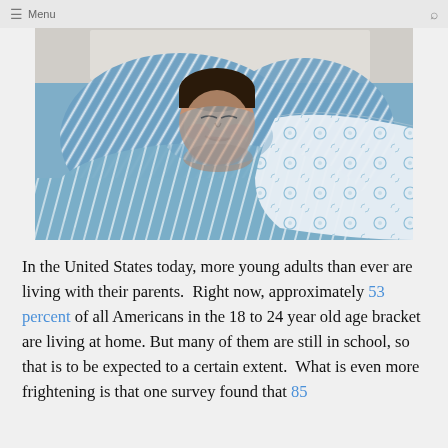Menu
[Figure (photo): A person lying in bed covered with blue and white striped bedding and a floral patterned white and blue blanket, appearing to be sleeping or resting.]
In the United States today, more young adults than ever are living with their parents.  Right now, approximately 53 percent of all Americans in the 18 to 24 year old age bracket are living at home.  But many of them are still in school, so that is to be expected to a certain extent.  What is even more frightening is that one survey found that 85